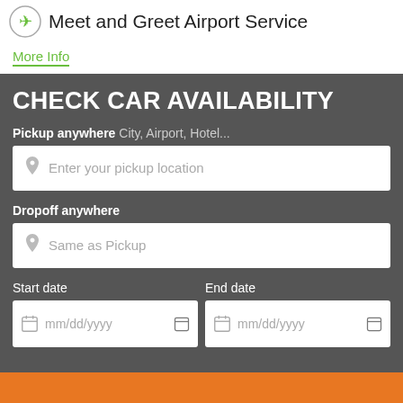Meet and Greet Airport Service
More Info
CHECK CAR AVAILABILITY
Pickup anywhere City, Airport, Hotel...
Enter your pickup location
Dropoff anywhere
Same as Pickup
Start date
End date
mm/dd/yyyy
mm/dd/yyyy